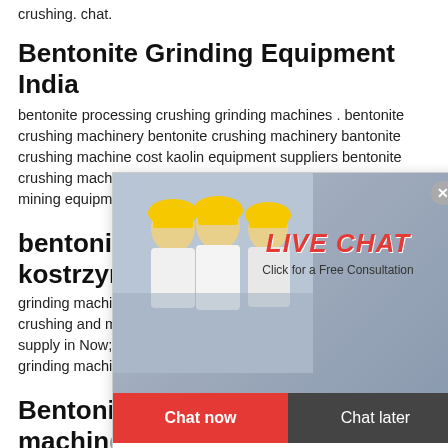crushing. chat.
Bentonite Grinding Equipment India
bentonite processing crushing grinding machines . bentonite crushing machinery bentonite crushing machinery bantonite crushing machine cost kaolin equipment suppliers bentonite crushing machine cost india 74 views the is the professional mining equipments manufacturers ...it crushing ma...
bentonite ... kostrzyn.p...
grinding machine for bentonite XSM is a manufacturer of crushing and milling equ machine for bentonite,XSM also supply in Now; bentonite grinding machine in gujar bentonite grinding machine in ...
Bentonite powder grinder machin...
2021.9.10 · HGM series Bentonite powd...
[Figure (screenshot): Live Chat popup overlay with workers in yellow hard hats, LIVE CHAT text in red italic, 'Click for a Free Consultation', Chat now and Chat later buttons]
[Figure (screenshot): Right sidebar with '24Hrs Online' red banner, female customer service agent with headset, 'Need questions & suggestion?' dark panel, red Chat Now button, and dashed Enquire border]